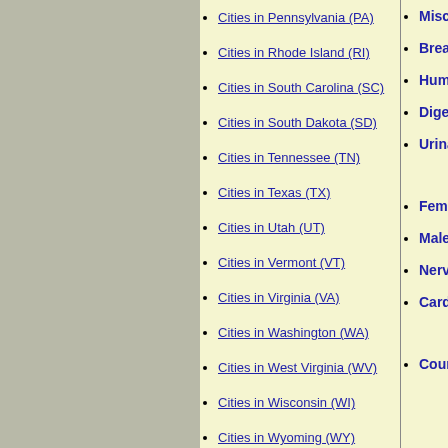Cities in Pennsylvania (PA)
Cities in Rhode Island (RI)
Cities in South Carolina (SC)
Cities in South Dakota (SD)
Cities in Tennessee (TN)
Cities in Texas (TX)
Cities in Utah (UT)
Cities in Vermont (VT)
Cities in Virginia (VA)
Cities in Washington (WA)
Cities in West Virginia (WV)
Cities in Wisconsin (WI)
Cities in Wyoming (WY)
Miscellan...
Breast
Human A...
Digestive...
Urinary S...
Female Reproductive System
Male Rep...
Nervous ...
Cardiova...
Course 1...